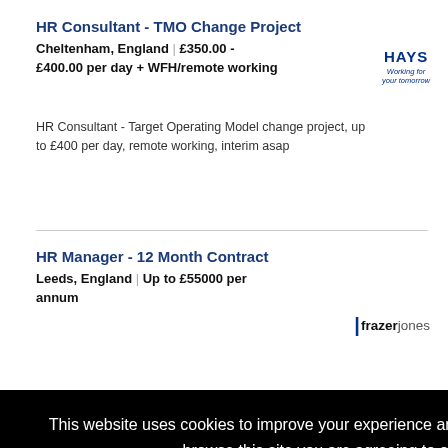HR Consultant - TMO Change Project
Cheltenham, England | £350.00 - £400.00 per day + WFH/remote working
[Figure (logo): HAYS logo - working for your tomorrow]
HR Consultant - Target Operating Model change project, up to £400 per day, remote working, interim asap
HR Manager - 12 Month Contract
Leeds, England | Up to £55000 per annum
[Figure (logo): frazer jones logo]
a
[Figure (logo): leaf logo partial]
s jobs
REGIS
NO
This website uses cookies to improve your experience and for ads personalisation. By continuing to browse this site you are agreeing to our use of these cookies.
You can learn more about the cookies we use here.
OK